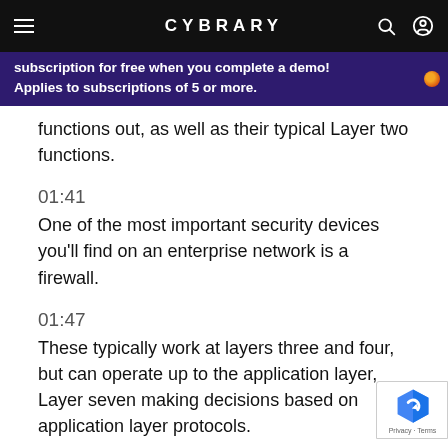CYBRARY
subscription for free when you complete a demo! Applies to subscriptions of 5 or more.
functions out, as well as their typical Layer two functions.
01:41
One of the most important security devices you'll find on an enterprise network is a firewall.
01:47
These typically work at layers three and four, but can operate up to the application layer, Layer seven making decisions based on application layer protocols.